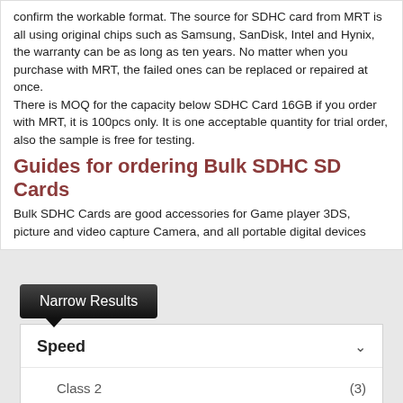confirm the workable format. The source for SDHC card from MRT is all using original chips such as Samsung, SanDisk, Intel and Hynix, the warranty can be as long as ten years. No matter when you purchase with MRT, the failed ones can be replaced or repaired at once.
There is MOQ for the capacity below SDHC Card 16GB if you order with MRT, it is 100pcs only. It is one acceptable quantity for trial order, also the sample is free for testing.
Guides for ordering Bulk SDHC SD Cards
Bulk SDHC Cards are good accessories for Game player 3DS, picture and video capture Camera, and all portable digital devices
Narrow Results
Speed
Class 2 (3)
Class 4 (4)
Class 6 (2)
Class 10 (4)